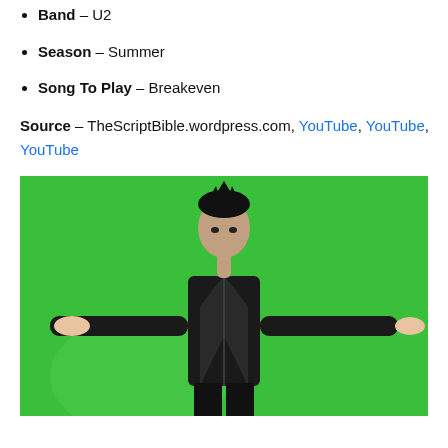Band – U2
Season – Summer
Song To Play – Breakeven
Source – TheScriptBible.wordpress.com, YouTube, YouTube, YouTube
[Figure (photo): A man in a black leather jacket standing against a bright green background with arms outstretched to either side]